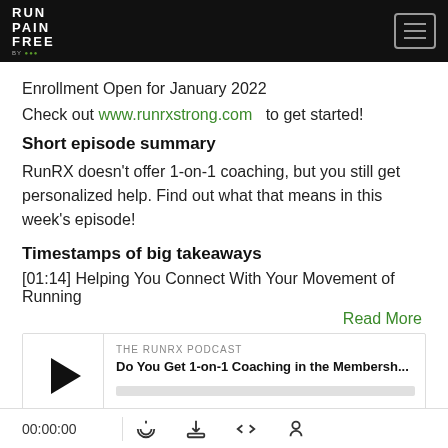RUN PAIN FREE
Enrollment Open for January 2022
Check out www.runrxstrong.com to get started!
Short episode summary
RunRX doesn't offer 1-on-1 coaching, but you still get personalized help. Find out what that means in this week's episode!
Timestamps of big takeaways
[01:14] Helping You Connect With Your Movement of Running
Read More
[Figure (other): Podcast player widget showing THE RUNRX PODCAST episode 'Do You Get 1-on-1 Coaching in the Membersh...' with play button and progress bar]
00:00:00 with RSS, download, embed, and share icons